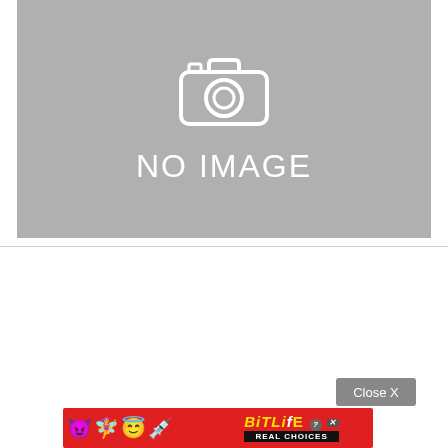[Figure (other): Gray placeholder box with camera icon and 'NO IMAGE' text]
[Figure (other): Advertisement banner for BitLife app with emoji characters, 'BitLife' logo and 'REAL CHOICES' tagline on red background, with a Close X button above it]